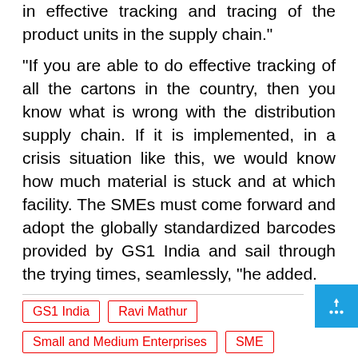in effective tracking and tracing of the product units in the supply chain."
"If you are able to do effective tracking of all the cartons in the country, then you know what is wrong with the distribution supply chain. If it is implemented, in a crisis situation like this, we would know how much material is stuck and at which facility. The SMEs must come forward and adopt the globally standardized barcodes provided by GS1 India and sail through the trying times, seamlessly, "he added.
GS1 India
Ravi Mathur
Small and Medium Enterprises
SME
barcode
RFID
supply chain
India